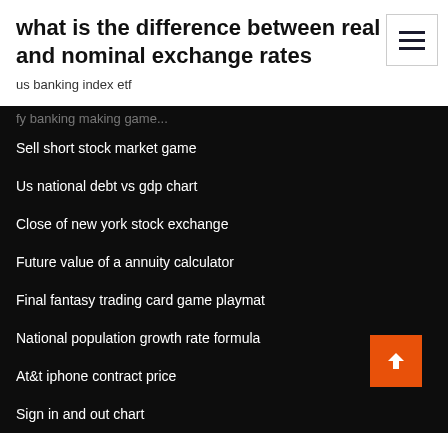what is the difference between real and nominal exchange rates
us banking index etf
Sell short stock market game
Us national debt vs gdp chart
Close of new york stock exchange
Future value of a annuity calculator
Final fantasy trading card game playmat
National population growth rate formula
At&t iphone contract price
Sign in and out chart